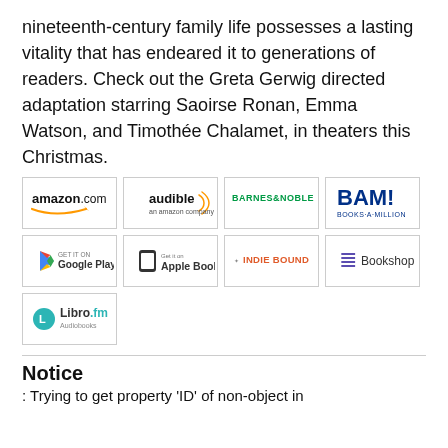nineteenth-century family life possesses a lasting vitality that has endeared it to generations of readers. Check out the Greta Gerwig directed adaptation starring Saoirse Ronan, Emma Watson, and Timothée Chalamet, in theaters this Christmas.
[Figure (logo): Amazon.com logo]
[Figure (logo): Audible logo]
[Figure (logo): Barnes & Noble logo]
[Figure (logo): BAM! Books-A-Million logo]
[Figure (logo): Google Play logo]
[Figure (logo): Apple Books logo]
[Figure (logo): IndieBound logo]
[Figure (logo): Bookshop logo]
[Figure (logo): Libro.fm Audiobooks logo]
Notice
: Trying to get property 'ID' of non-object in